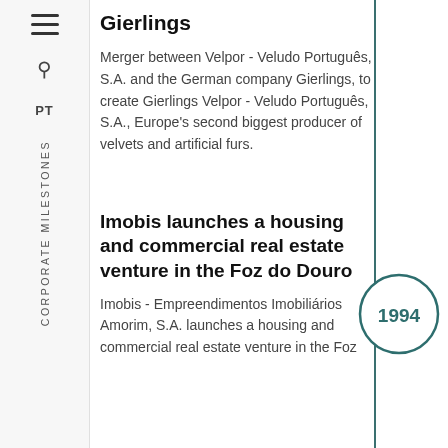Gierlings
Merger between Velpor - Veludo Português, S.A. and the German company Gierlings, to create Gierlings Velpor - Veludo Português, S.A., Europe's second biggest producer of velvets and artificial furs.
Imobis launches a housing and commercial real estate venture in the Foz do Douro
Imobis - Empreendimentos Imobiliários Amorim, S.A. launches a housing and commercial real estate venture in the Foz
[Figure (other): Year badge circle with '1994' inside, teal outline circle on timeline]
CORPORATE MILESTONES